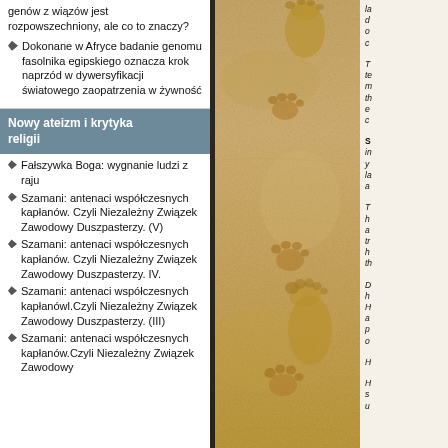genów z wiązów jest rozpowszechniony, ale co to znaczy?
Dokonane w Afryce badanie genomu fasolnika egipskiego oznacza krok naprzód w dywersyfikacji światowego zaopatrzenia w żywność
Nowy ateizm i krytyka religii
Fałszywka Boga: wygnanie ludzi z raju
Szamani: antenaci współczesnych kapłanów. Czyli Niezależny Związek Zawodowy Duszpasterzy. (V)
Szamani: antenaci współczesnych kapłanów. Czyli Niezależny Związek Zawodowy Duszpasterzy. IV.
Szamani: antenaci współczesnych kapłanówl.Czyli Niezależny Związek Zawodowy Duszpasterzy. (III)
Szamani: antenaci współczesnych kapłanów.Czyli Niezależny Związek Zawodowy
[Figure (photo): Footprints in sand — human barefoot prints alongside animal paw prints on a sandy beach surface, golden/tan colored sand, vertical orientation]
la d o c

T te m th e c

S in y la a

T h a tr h th

D h H a p o

H

H s u